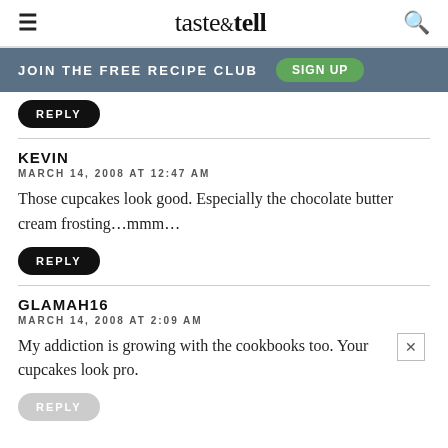taste & tell
JOIN THE FREE RECIPE CLUB  SIGN UP
REPLY
KEVIN
MARCH 14, 2008 AT 12:47 AM
Those cupcakes look good. Especially the chocolate butter cream frosting…mmm…
REPLY
GLAMAH16
MARCH 14, 2008 AT 2:09 AM
My addiction is growing with the cookbooks too. Your cupcakes look pro.
REPLY